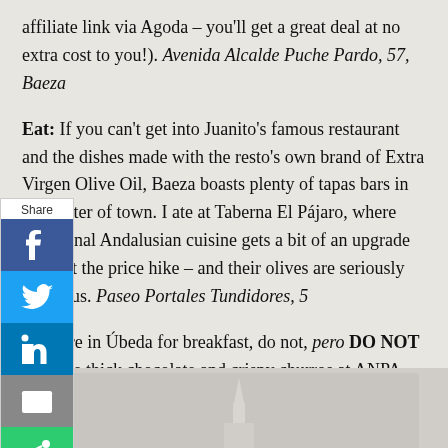affiliate link via Agoda – you'll get a great deal at no extra cost to you!). Avenida Alcalde Puche Pardo, 57, Baeza
Eat: If you can't get into Juanito's famous restaurant and the dishes made with the resto's own brand of Extra Virgen Olive Oil, Baeza boasts plenty of tapas bars in the center of town. I ate at Taberna El Pájaro, where traditional Andalusian cuisine gets a bit of an upgrade without the price hike – and their olives are seriously delicious. Paseo Portales Tundidores, 5
If you're in Úbeda for breakfast, do not, pero DO NOT miss the thick chocolate and crispy churros at ANPA. Carredura San Fernando, 33.
[Figure (photo): Bottom strip showing tops of white architectural structures against a light background]